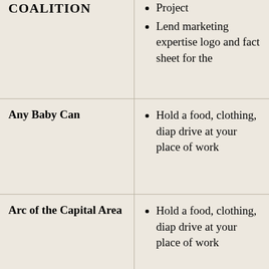| Organization | Opportunity |
| --- | --- |
| COALITION | Project
Lend marketing expertise logo and fact sheet for the |
| Any Baby Can | Hold a food, clothing, diap drive at your place of work |
| Arc of the Capital Area | Hold a food, clothing, diap drive at your place of work |
| Capital Area Food Bank | Hold a food drive at your p |